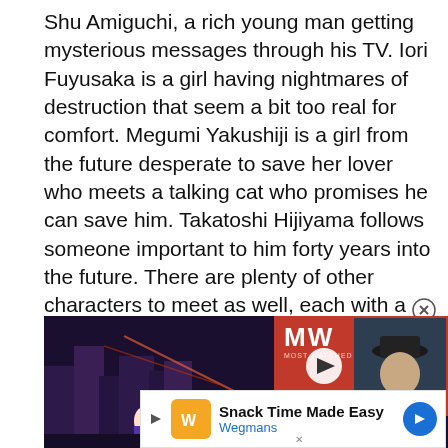Shu Amiguchi, a rich young man getting mysterious messages through his TV. Iori Fuyusaka is a girl having nightmares of destruction that seem a bit too real for comfort. Megumi Yakushiji is a girl from the future desperate to save her lover who meets a talking cat who promises he can save him. Takatoshi Hijiyama follows someone important to him forty years into the future. There are plenty of other characters to meet as well, each with a style all their own. At the center of most of this is Juro Kurabe, the closest thing 13 Sentinels has to a true protagonist, a young student who loves monster movies and hanging out with his friends.
[Figure (screenshot): Screenshot from 13 Sentinels game showing anime characters in a purple/dark sci-fi cityscape, with an overlaid advertisement panel showing 'BEST MYSTERY GAMES' with a 3D character wearing a fedora, and the MW logo on red background with a play button]
[Figure (advertisement): Ad banner: 'Snack Time Made Easy' with Wegmans logo, orange icon, and blue directional arrow button]